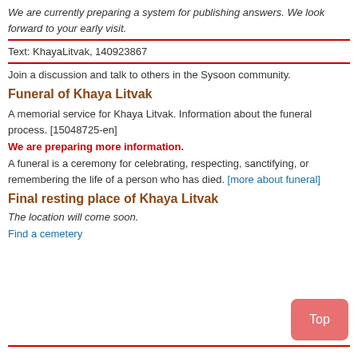We are currently preparing a system for publishing answers. We look forward to your early visit.
Text: KhayaLitvak, 140923867
Join a discussion and talk to others in the Sysoon community.
Funeral of Khaya Litvak
A memorial service for Khaya Litvak. Information about the funeral process. [15048725-en]
We are preparing more information.
A funeral is a ceremony for celebrating, respecting, sanctifying, or remembering the life of a person who has died. [more about funeral]
Final resting place of Khaya Litvak
The location will come soon.
Find a cemetery